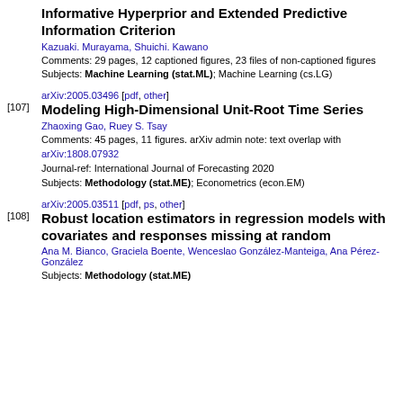Informative Hyperprior and Extended Predictive Information Criterion
Kazuaki. Murayama, Shuichi. Kawano
Comments: 29 pages, 12 captioned figures, 23 files of non-captioned figures
Subjects: Machine Learning (stat.ML); Machine Learning (cs.LG)
[107] arXiv:2005.03496 [pdf, other]
Modeling High-Dimensional Unit-Root Time Series
Zhaoxing Gao, Ruey S. Tsay
Comments: 45 pages, 11 figures. arXiv admin note: text overlap with arXiv:1808.07932
Journal-ref: International Journal of Forecasting 2020
Subjects: Methodology (stat.ME); Econometrics (econ.EM)
[108] arXiv:2005.03511 [pdf, ps, other]
Robust location estimators in regression models with covariates and responses missing at random
Ana M. Bianco, Graciela Boente, Wenceslao González-Manteiga, Ana Pérez-González
Subjects: Methodology (stat.ME)